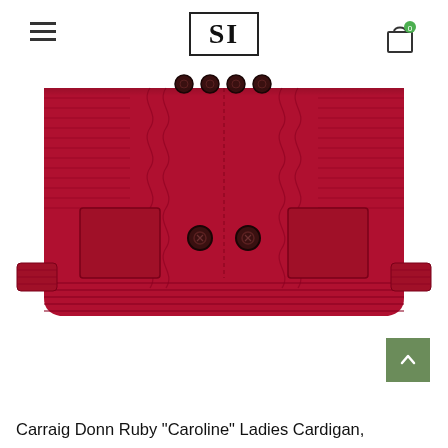SI
[Figure (photo): A red cable-knit ladies cardigan (Carraig Donn Ruby Caroline) photographed on a white background, showing the front with dark decorative buttons, ribbed trim, and two front pockets.]
Carraig Donn Ruby "Caroline" Ladies Cardigan,